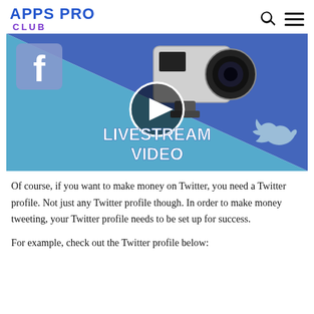APPS PRO CLUB
[Figure (screenshot): Video thumbnail showing a GoPro camera on a blue diagonal background with Facebook logo top-left and Twitter bird logo bottom-right. Text reads 'LIVESTREAM VIDEO' in bold white. A circular play button is overlaid in the center.]
Of course, if you want to make money on Twitter, you need a Twitter profile. Not just any Twitter profile though. In order to make money tweeting, your Twitter profile needs to be set up for success.
For example, check out the Twitter profile below: